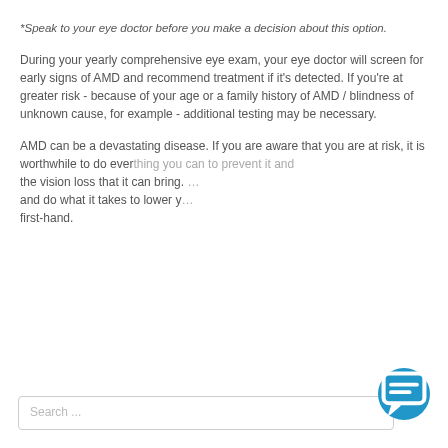*Speak to your eye doctor before you make a decision about this option.
During your yearly comprehensive eye exam, your eye doctor will screen for early signs of AMD and recommend treatment if it's detected. If you're at greater risk - because of your age or a family history of AMD / blindness of unknown cause, for example - additional testing may be necessary.
AMD can be a devastating disease. If you are aware that you are at risk, it is worthwhile to do everything you can to prevent it and the vision loss that it can bring. Take the right steps today and do what it takes to lower your risk of experiencing its effects first-hand.
[Figure (screenshot): Chat popup widget with text 'Got a question? Text us!' and a close X button, with speech bubble tail, plus a circular blue chat button in bottom right corner]
Search ...